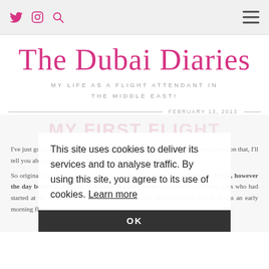The Dubai Diaries — nav bar with Twitter, Instagram, Search icons and hamburger menu
The Dubai Diaries
MY LIFE AS A FLIGHT ATTENDANT IN THE MIDDLE EAST!
FEBRUARY 13, 2013
This site uses cookies to deliver its services and to analyse traffic. By using this site, you agree to its use of cookies. Learn more
OK
I've just got back from an amazing layover in Hong Kong! But before I get started on that, I'll tell you about my very first flight….to Kuwait and back!
So originally my roster had said that I was doing a turnaround to Amman, Jordan, however the day before it changed to Kuwait! Luckily I was going with two lovely girls who had started at the same time as me so I wasn't the only new person on board! It was an early morning flight, which meant getting up at